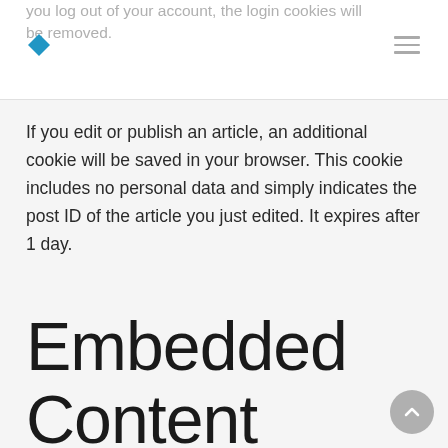you log out of your account, the login cookies will be removed.
If you edit or publish an article, an additional cookie will be saved in your browser. This cookie includes no personal data and simply indicates the post ID of the article you just edited. It expires after 1 day.
Embedded Content From Other